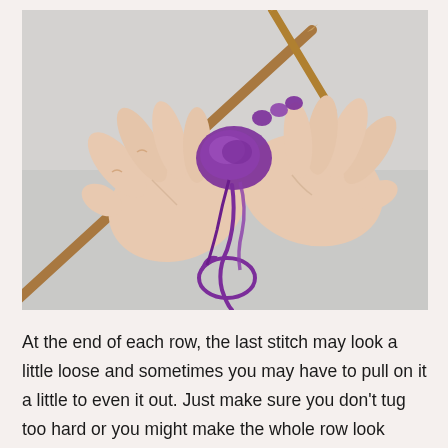[Figure (photo): Two hands holding wooden knitting needles with purple yarn wound around them, demonstrating a knitting stitch. A long wooden needle extends from the lower left. The background is a white/light gray surface.]
At the end of each row, the last stitch may look a little loose and sometimes you may have to pull on it a little to even it out. Just make sure you don't tug too hard or you might make the whole row look uneven.